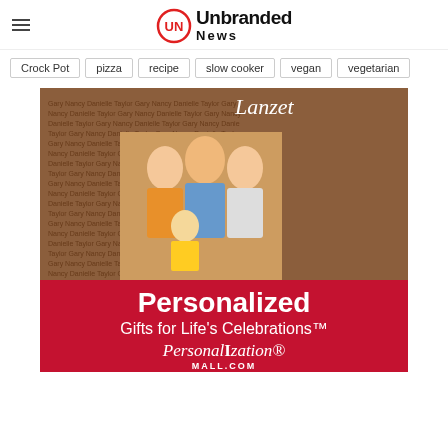Unbranded News
Crock Pot
pizza
recipe
slow cooker
vegan
vegetarian
[Figure (photo): Personalization Mall advertisement showing a personalized photo frame with the name 'Lanzet' and a family photo. Text reads 'Personalized Gifts for Life's Celebrations' and 'PersonalIzation MALL.COM']